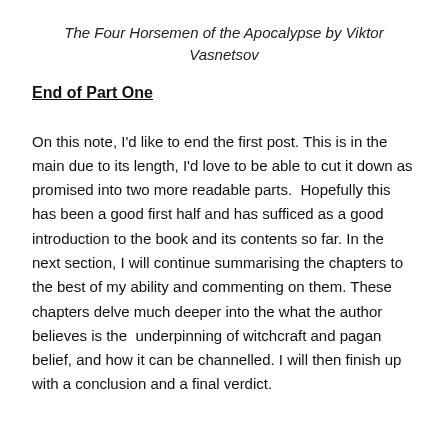The Four Horsemen of the Apocalypse by Viktor Vasnetsov
End of Part One
On this note, I'd like to end the first post. This is in the main due to its length, I'd love to be able to cut it down as promised into two more readable parts.  Hopefully this has been a good first half and has sufficed as a good introduction to the book and its contents so far. In the next section, I will continue summarising the chapters to the best of my ability and commenting on them. These chapters delve much deeper into the what the author believes is the  underpinning of witchcraft and pagan belief, and how it can be channelled. I will then finish up with a conclusion and a final verdict.